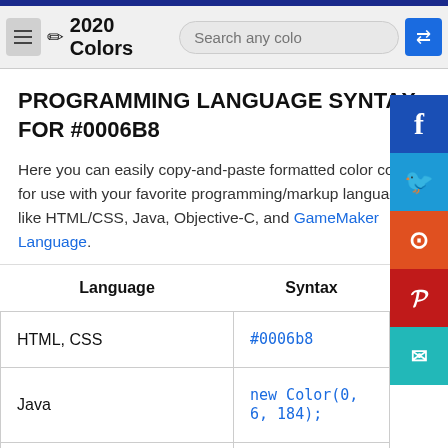2020 Colors — Search any color — navigation bar
PROGRAMMING LANGUAGE SYNTAX FOR #0006B8
Here you can easily copy-and-paste formatted color code for use with your favorite programming/markup languages like HTML/CSS, Java, Objective-C, and GameMaker Language.
| Language | Syntax |
| --- | --- |
| HTML, CSS | #0006b8 |
| Java | new Color(0, 6, 184); |
| .NET | Color.FromArgb(255, 0, 6, 184); |